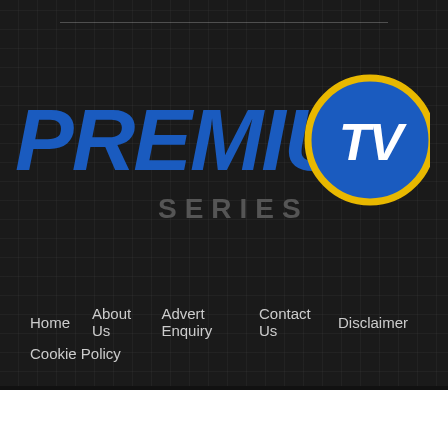[Figure (logo): PremiumTV Series logo — bold blue italic PREMIUM text, blue circle with gold border containing white bold TV text, grey SERIES lettering below]
Home
About Us
Advert Enquiry
Contact Us
Disclaimer
Cookie Policy